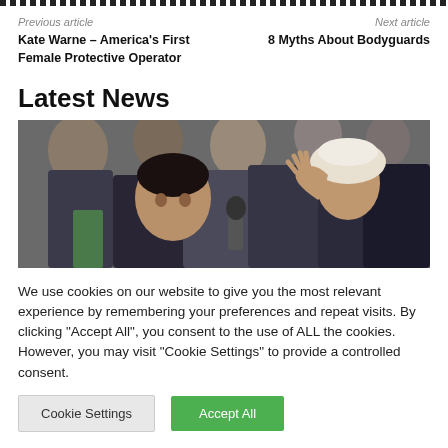Previous article
Kate Warne – America's First Female Protective Operator
Next article
8 Myths About Bodyguards
Latest News
[Figure (photo): A crowd scene with a man in dark suit in foreground and a man in white turban waving at right side of image]
We use cookies on our website to give you the most relevant experience by remembering your preferences and repeat visits. By clicking "Accept All", you consent to the use of ALL the cookies. However, you may visit "Cookie Settings" to provide a controlled consent.
Cookie Settings | Accept All